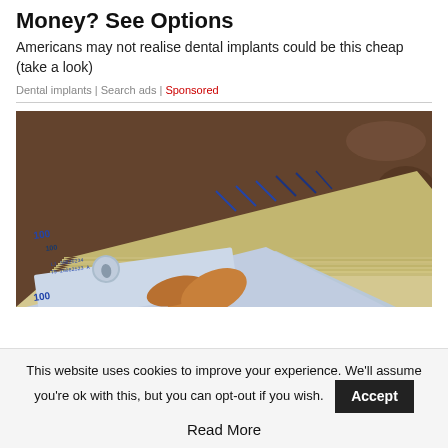Money? See Options
Americans may not realise dental implants could be this cheap (take a look)
Dental implants | Search ads | Sponsored
[Figure (photo): A hand holding a thick stack of $100 US dollar bills fanned out on a granite surface]
This website uses cookies to improve your experience. We'll assume you're ok with this, but you can opt-out if you wish. Accept Read More